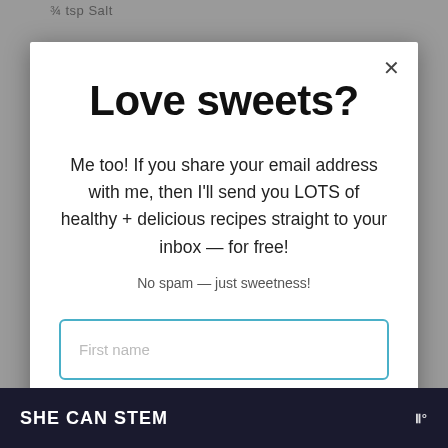¾ tsp Salt
Love sweets?
Me too! If you share your email address with me, then I'll send you LOTS of healthy + delicious recipes straight to your inbox — for free!
No spam — just sweetness!
First name
Email address
SHE CAN STEM